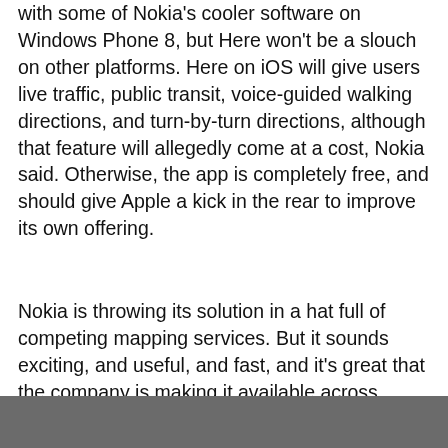with some of Nokia's cooler software on Windows Phone 8, but Here won't be a slouch on other platforms. Here on iOS will give users live traffic, public transit, voice-guided walking directions, and turn-by-turn directions, although that feature will allegedly come at a cost, Nokia said. Otherwise, the app is completely free, and should give Apple a kick in the rear to improve its own offering.
Nokia is throwing its solution in a hat full of competing mapping services. But it sounds exciting, and useful, and fast, and it's great that the company is making it available across multiple platforms. Google Maps is still the likeliest go-to service on the market, and a tremendously useful